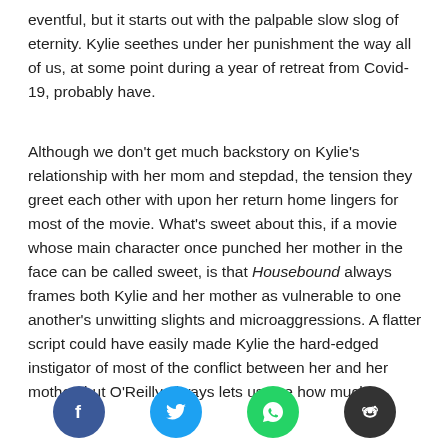eventful, but it starts out with the palpable slow slog of eternity. Kylie seethes under her punishment the way all of us, at some point during a year of retreat from Covid-19, probably have.
Although we don't get much backstory on Kylie's relationship with her mom and stepdad, the tension they greet each other with upon her return home lingers for most of the movie. What's sweet about this, if a movie whose main character once punched her mother in the face can be called sweet, is that Housebound always frames both Kylie and her mother as vulnerable to one another's unwitting slights and microaggressions. A flatter script could have easily made Kylie the hard-edged instigator of most of the conflict between her and her mother, but O'Reilly always lets us see how much
[Figure (infographic): Four social media share buttons: Facebook (blue circle), Twitter (cyan circle), WhatsApp (green circle), Reddit (dark circle)]